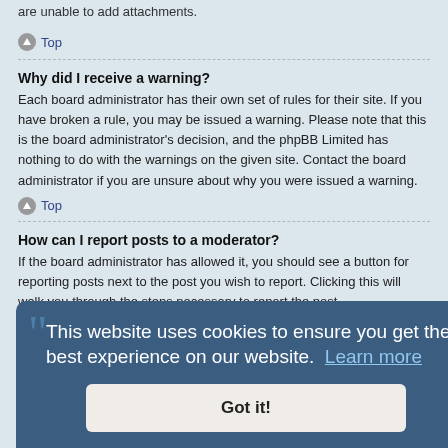are unable to add attachments.
Top
Why did I receive a warning?
Each board administrator has their own set of rules for their site. If you have broken a rule, you may be issued a warning. Please note that this is the board administrator's decision, and the phpBB Limited has nothing to do with the warnings on the given site. Contact the board administrator if you are unsure about why you were issued a warning.
Top
How can I report posts to a moderator?
If the board administrator has allowed it, you should see a button for reporting posts next to the post you wish to report. Clicking this will walk you through the steps necessary to report the post.
What is the "Save" button for in topic posting?
This allows you to save drafts to be completed and submitted at a later date. To reload a saved draft, visit the User Control Panel.
Top
This website uses cookies to ensure you get the best experience on our website. Learn more
Got it!